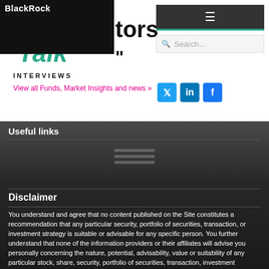BlackRock Investors Talk Interviews
View all Funds, Market Insights and news »
Useful links
Disclaimer
You understand and agree that no content published on the Site constitutes a recommendation that any particular security, portfolio of securities, transaction, or investment strategy is suitable or advisable for any specific person. You further understand that none of the information providers or their affiliates will advise you personally concerning the nature, potential, advisability, value or suitability of any particular stock, share, security, portfolio of securities, transaction, investment strategy, or other matter. We openly disclose that we and our contributors may have interests in investments and/or providers of services referred to within the